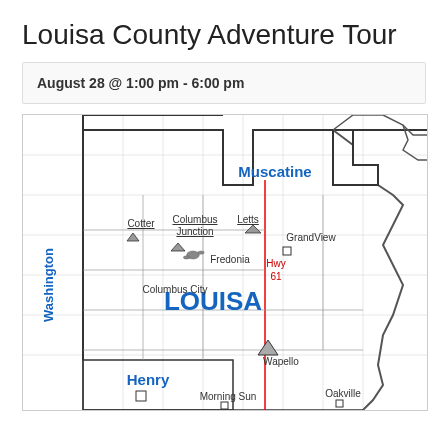Louisa County Adventure Tour
August 28 @ 1:00 pm - 6:00 pm
[Figure (map): Map of Louisa County Iowa showing surrounding counties (Washington, Henry), neighboring county Muscatine, towns including Columbus Junction, Letts, Grandview, Fredonia, Columbus City, Wapello, Morning Sun, Oakville, Cotter, and Highway 61 marked in red running north-south through the county. The county name LOUISA is displayed in large blue bold text in the center.]